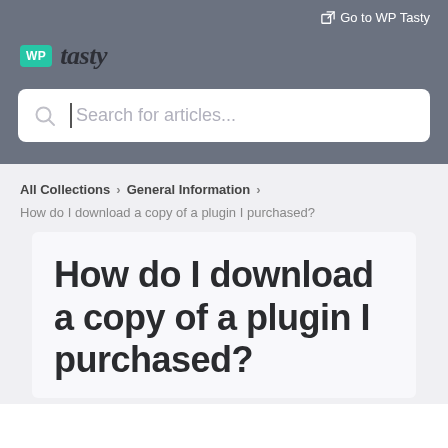Go to WP Tasty
[Figure (logo): WP Tasty logo with teal WP badge and italic tasty text]
Search for articles...
All Collections > General Information >
How do I download a copy of a plugin I purchased?
How do I download a copy of a plugin I purchased?